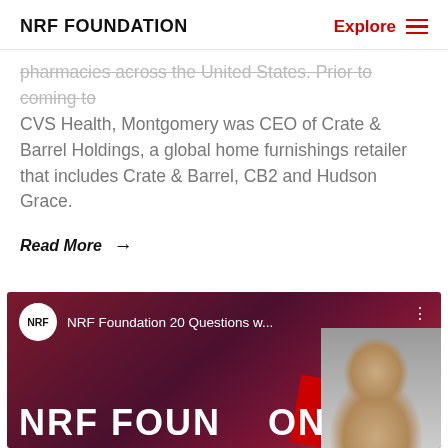NRF FOUNDATION
pharmacies across the United States. Prior to coming to CVS Health, Montgomery was CEO of Crate & Barrel Holdings, a global home furnishings retailer that includes Crate & Barrel, CB2 and Hudson Grace.
Read More →
[Figure (screenshot): NRF Foundation video thumbnail showing 'NRF Foundation 20 Questions w...' with NRF logo circle, a smiling man with glasses, and 'NRF FOUNDATION' text on a dark red/maroon background]